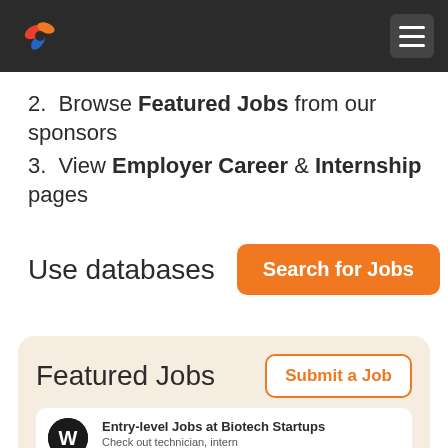[Figure (logo): Colorful circular logo (red, orange, blue swirl) on dark header bar, with hamburger menu icon on right]
2.  Browse Featured Jobs from our sponsors
3.  View Employer Career & Internship pages
Use databases   [Search for Jobs button]
Featured Jobs
Entry-level Jobs at Biotech Startups  Check out technician, intern…